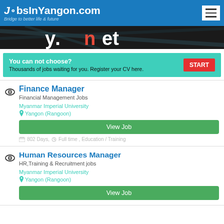JobsInYangon.com - Bridge to better life & future
[Figure (screenshot): Dark banner image showing partial text 'y.net' in large white and orange letters on a dark background]
You can not choose? Thousands of jobs waiting for you. Register your CV here. START
Finance Manager - Financial Management Jobs - Myanmar Imperial University - Yangon (Rangoon) - View Job - 802 Days, Full time, Education / Training
Human Resources Manager - HR,Training & Recruitment jobs - Myanmar Imperial University - Yangon (Rangoon)